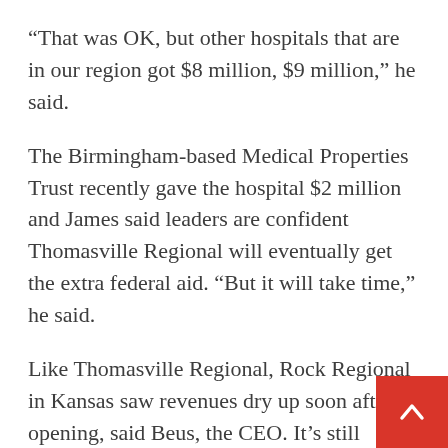“That was OK, but other hospitals that are in our region got $8 million, $9 million,” he said.
The Birmingham-based Medical Properties Trust recently gave the hospital $2 million and James said leaders are confident Thomasville Regional will eventually get the extra federal aid. “But it will take time,” he said.
Like Thomasville Regional, Rock Regional in Kansas saw revenues dry up soon after opening, said Beus, the CEO. It’s still experiencing staff shortages because of the pandemic and having to pay a premium to travel nurses to work shifts on the wards, he said, all while working with consultants and members of Congress just to stay afloat.